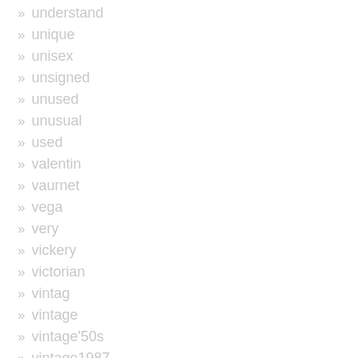» understand
» unique
» unisex
» unsigned
» unused
» unusual
» used
» valentin
» vaurnet
» vega
» very
» vickery
» victorian
» vintag
» vintage
» vintage'50s
» vintage1987